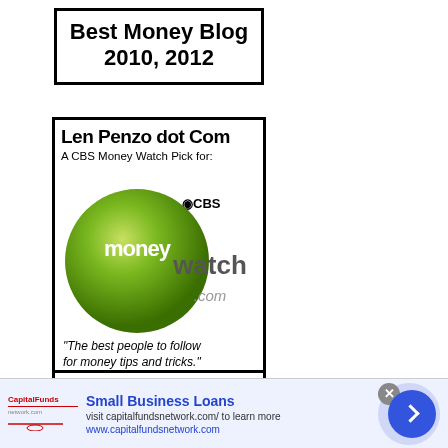[Figure (illustration): Badge reading 'Best Money Blog 2010, 2012' in bold black text with a black border box]
[Figure (illustration): Len Penzo dot Com badge with CBS MoneyWatch logo and quote: 'The best people to follow for money tips and tricks.']
[Figure (illustration): Partial Len Penzo dot Com badge, partially cut off at bottom of page]
[Figure (other): Advertisement banner for Small Business Loans from capitalfundsnetwork.com with close button and arrow navigation button]